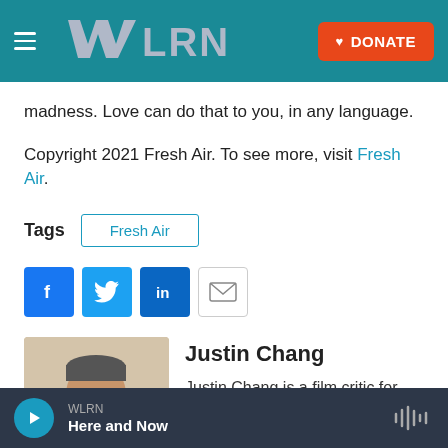WLRN — DONATE
madness. Love can do that to you, in any language.
Copyright 2021 Fresh Air. To see more, visit Fresh Air.
Tags   Fresh Air
[Figure (screenshot): Social share buttons: Facebook, Twitter, LinkedIn, Email]
[Figure (photo): Headshot photo of Justin Chang]
Justin Chang
Justin Chang is a film critic for the Los
WLRN — Here and Now